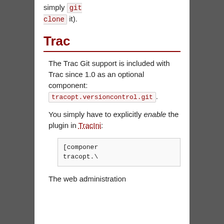simply git clone it).
Trac
The Trac Git support is included with Trac since 1.0 as an optional component: tracopt.versioncontrol.git.
You simply have to explicitly enable the plugin in TracIni:
[components]
tracopt.v
The web administration